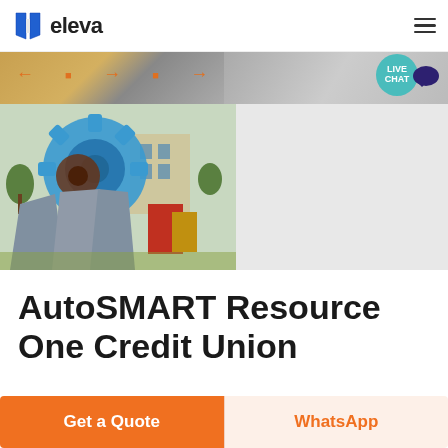eleva
[Figure (photo): Industrial machinery photo showing a bucket wheel/sand washing machine with blue gear wheel, gray hoppers, and colorful equipment in background; top strip shows conveyor/feeder equipment with orange arrows]
AutoSMART Resource One Credit Union
...
Get a Quote
WhatsApp